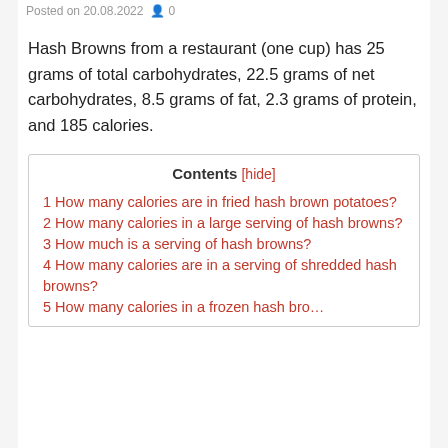Posted on 20.08.2022  0
Hash Browns from a restaurant (one cup) has 25 grams of total carbohydrates, 22.5 grams of net carbohydrates, 8.5 grams of fat, 2.3 grams of protein, and 185 calories.
Contents [hide]
1 How many calories are in fried hash brown potatoes?
2 How many calories in a large serving of hash browns?
3 How much is a serving of hash browns?
4 How many calories are in a serving of shredded hash browns?
5 How many calories in a frozen hash…